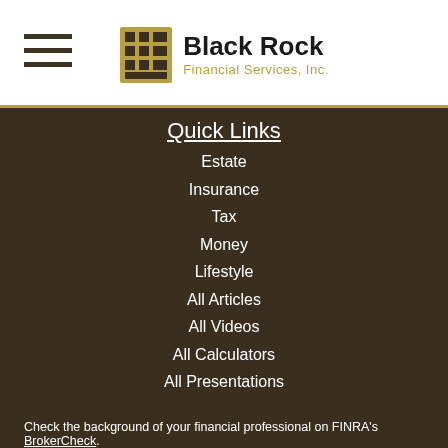Black Rock Financial Services, Inc.
Quick Links
Estate
Insurance
Tax
Money
Lifestyle
All Articles
All Videos
All Calculators
All Presentations
Check the background of your financial professional on FINRA's BrokerCheck.
The content is developed from sources believed to be providing accurate information. The information in this material is not intended as tax or legal advice. Please consult legal or tax professionals for specific information regarding your individual situation. Some of this material was developed and produced by FMG Suite to provide information on a topic that may be of interest. FMG Suite is not affiliated with the named representative, broker - dealer, state - or SEC - registered investment advisory firm. The opinions expressed and material provided are for